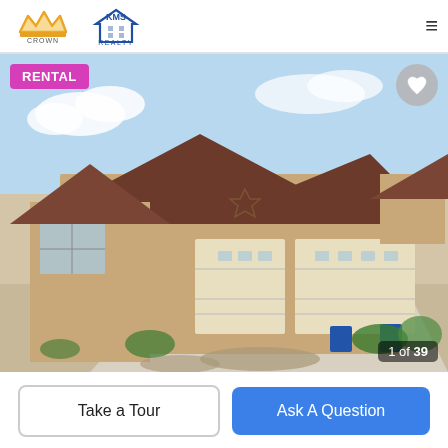[Figure (logo): Crown Team and KMS Realty logos in header]
[Figure (photo): Exterior photo of a single-story stucco home with two-car garage, tile roof, blue sky background. Shows image counter '1 of 39' and a RENTAL badge in magenta. Heart/save button in top right.]
Take a Tour
Ask A Question